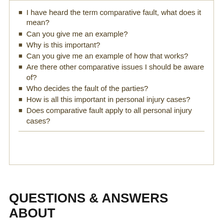I have heard the term comparative fault, what does it mean?
Can you give me an example?
Why is this important?
Can you give me an example of how that works?
Are there other comparative issues I should be aware of?
Who decides the fault of the parties?
How is all this important in personal injury cases?
Does comparative fault apply to all personal injury cases?
QUESTIONS & ANSWERS ABOUT